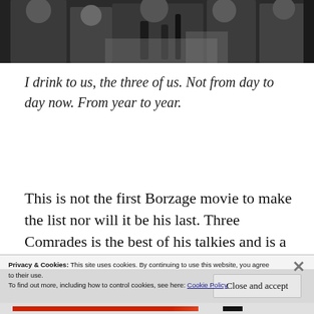[Figure (photo): Black and white photograph of several people in military uniforms, partially cropped, appearing to be at a gathering or celebration with bottles visible on a table.]
I drink to us, the three of us. Not from day to day now. From year to year.
This is not the first Borzage movie to make the list nor will it be his last. Three Comrades is the best of his talkies and is a
Privacy & Cookies: This site uses cookies. By continuing to use this website, you agree to their use.
To find out more, including how to control cookies, see here: Cookie Policy
Close and accept